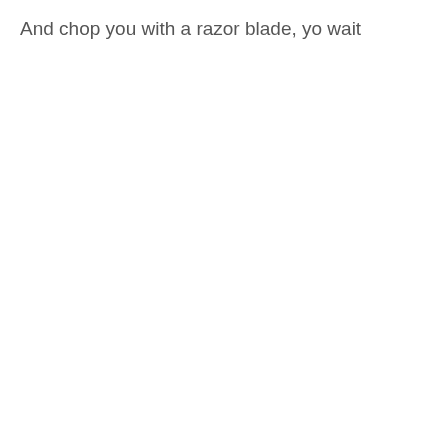And chop you with a razor blade, yo wait